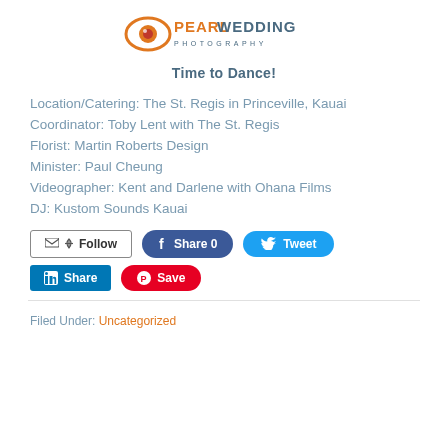[Figure (logo): Pearl Wedding Photography logo — an eye icon in orange with a pink/red pupil, next to text 'PEARL WEDDING PHOTOGRAPHY' in orange and dark teal]
Time to Dance!
Location/Catering: The St. Regis in Princeville, Kauai
Coordinator: Toby Lent with The St. Regis
Florist: Martin Roberts Design
Minister: Paul Cheung
Videographer: Kent and Darlene with Ohana Films
DJ: Kustom Sounds Kauai
[Figure (screenshot): Social sharing buttons: Follow, Share 0 (Facebook), Tweet (Twitter), Share (LinkedIn), Save (Pinterest)]
Filed Under: Uncategorized